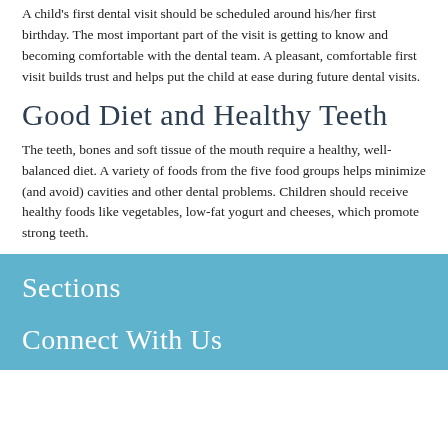A child's first dental visit should be scheduled around his/her first birthday. The most important part of the visit is getting to know and becoming comfortable with the dental team. A pleasant, comfortable first visit builds trust and helps put the child at ease during future dental visits.
Good Diet and Healthy Teeth
The teeth, bones and soft tissue of the mouth require a healthy, well-balanced diet. A variety of foods from the five food groups helps minimize (and avoid) cavities and other dental problems. Children should receive healthy foods like vegetables, low-fat yogurt and cheeses, which promote strong teeth.
Sections
Connect With Us